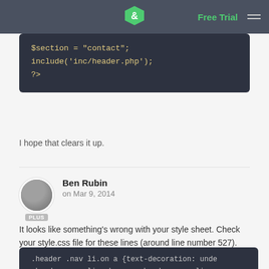Free Trial
[Figure (screenshot): Code block showing PHP: $section = "contact"; include('inc/header.php'); ?>]
I hope that clears it up.
Ben Rubin
on Mar 9, 2014
It looks like something's wrong with your style sheet. Check your style.css file for these lines (around line number 527).
[Figure (screenshot): Code block showing CSS: .header .nav li.on a {text-decoration: unde... .header .nav li a:hover, .header .nav li a:... .header .nav li.shirts a {background-positi...]